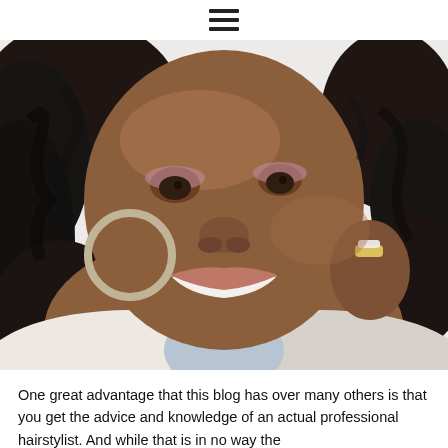≡
[Figure (photo): Close-up photo of a smiling Black woman with curly black hair, large silver hoop earrings, a diamond ring, wearing a white top and light blue tank top underneath, against a white background.]
One great advantage that this blog has over many others is that you get the advice and knowledge of an actual professional hairstylist. And while that is in no way the...